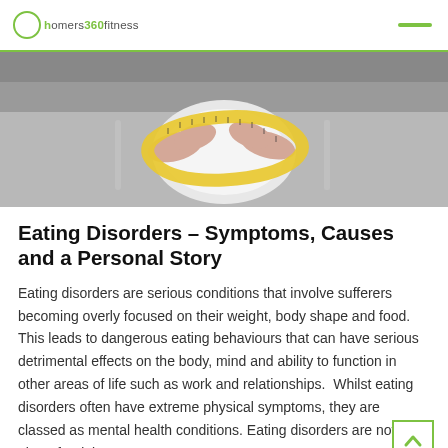homers360fitness
[Figure (photo): Hands wrapped with a yellow measuring tape around a white plate, with a fork and knife on either side, on a grey surface.]
Eating Disorders – Symptoms, Causes and a Personal Story
Eating disorders are serious conditions that involve sufferers becoming overly focused on their weight, body shape and food.  This leads to dangerous eating behaviours that can have serious detrimental effects on the body, mind and ability to function in other areas of life such as work and relationships.  Whilst eating disorders often have extreme physical symptoms, they are classed as mental health conditions. Eating disorders are not just about food, but are